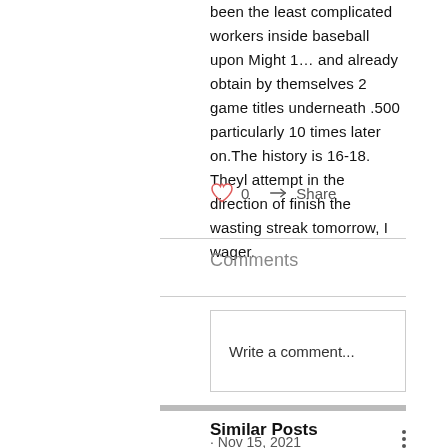been the least complicated workers inside baseball upon Might 1… and already obtain by themselves 2 game titles underneath .500 particularly 10 times later on.The history is 16-18. Theyl attempt in the direction of finish the wasting streak tomorrow, I wager.
0  Share
Comments
Write a comment...
Similar Posts
· Nov 15, 2021